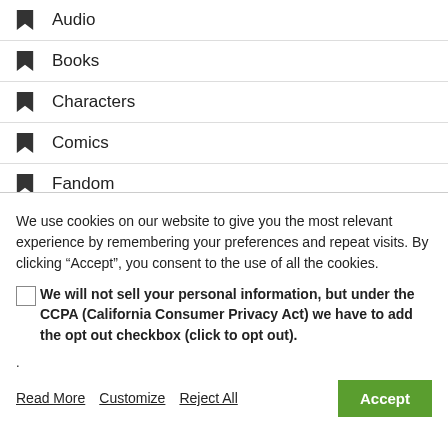Audio
Books
Characters
Comics
Fandom
We use cookies on our website to give you the most relevant experience by remembering your preferences and repeat visits. By clicking “Accept”, you consent to the use of all the cookies.
We will not sell your personal information, but under the CCPA (California Consumer Privacy Act) we have to add the opt out checkbox (click to opt out).
.
Read More   Customize   Reject All   Accept